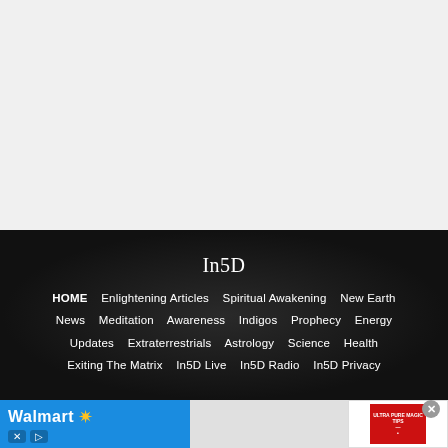[Figure (other): Large blank/white-gray area at top of page, representing an advertisement or empty content area]
In5D
HOME   Enlightening Articles   Spiritual Awakening   New Earth
News   Meditation   Awareness   Indigos   Prophecy   Energy
Updates   Extraterrestrials   Astrology   Science   Health
Exiting The Matrix   In5D Live   In5D Radio   In5D Privacy
[Figure (screenshot): Walmart advertisement banner with blue background and yellow star logo, alongside a product advertisement with red packaging]
[Figure (other): Close button (X in circle) for dismissing advertisement]